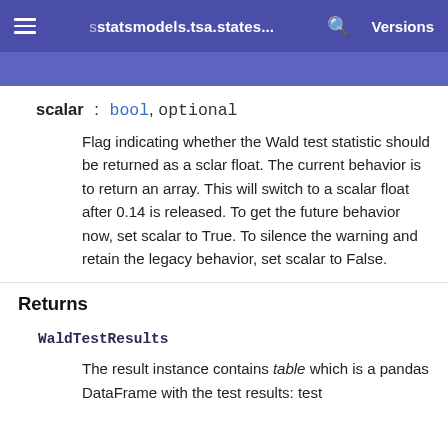statsmodels.tsa.states... Versions
scalar : bool, optional
Flag indicating whether the Wald test statistic should be returned as a sclar float. The current behavior is to return an array. This will switch to a scalar float after 0.14 is released. To get the future behavior now, set scalar to True. To silence the warning and retain the legacy behavior, set scalar to False.
Returns
WaldTestResults
The result instance contains table which is a pandas DataFrame with the test results: test